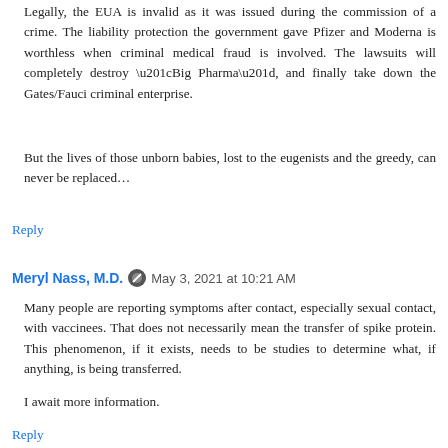Legally, the EUA is invalid as it was issued during the commission of a crime. The liability protection the government gave Pfizer and Moderna is worthless when criminal medical fraud is involved. The lawsuits will completely destroy “Big Pharma”, and finally take down the Gates/Fauci criminal enterprise.
But the lives of those unborn babies, lost to the eugenists and the greedy, can never be replaced…
Reply
Meryl Nass, M.D.  May 3, 2021 at 10:21 AM
Many people are reporting symptoms after contact, especially sexual contact, with vaccinees. That does not necessarily mean the transfer of spike protein. This phenomenon, if it exists, needs to be studies to determine what, if anything, is being transferred.
I await more information.
Reply